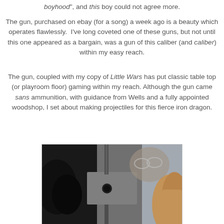boyhood", and this boy could not agree more.
The gun, purchased on ebay (for a song) a week ago is a beauty which operates flawlessly.  I've long coveted one of these guns, but not until this one appeared as a bargain, was a gun of this caliber (and caliber) within my easy reach.
The gun, coupled with my copy of Little Wars has put classic table top (or playroom floor) gaming within my reach. Although the gun came sans ammunition, with guidance from Wells and a fully appointed woodshop, I set about making projectiles for this fierce iron dragon.
[Figure (photo): Close-up photograph of a person wearing safety glasses examining or working with a mechanical gun device, with a hand visible in the foreground holding or steadying a metal component.]